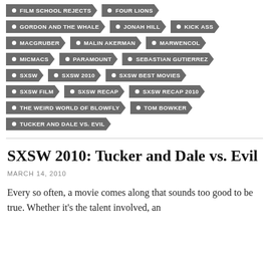FILM SCHOOL REJECTS
FOUR LIONS
GORDON AND THE WHALE
JONAH HILL
KICK ASS
MACGRUBER
MALIN AKERMAN
MARWENCOL
MICMACS
PARAMOUNT
SEBASTIAN GUTIERREZ
SXSW
SXSW 2010
SXSW BEST MOVIES
SXSW FILM
SXSW RECAP
SXSW RECAP 2010
THE WEIRD WORLD OF BLOWFLY
TOM BOWKER
TUCKER AND DALE VS. EVIL
SXSW 2010: Tucker and Dale vs. Evil
MARCH 14, 2010
Every so often, a movie comes along that sounds too good to be true. Whether it’s the talent involved, an